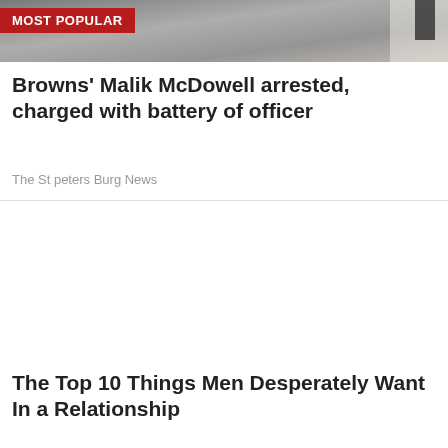[Figure (photo): Sports photo showing a player in a white and black jersey, partially visible, against a crowd background. A red 'MOST POPULAR' banner overlays the top-left corner.]
Browns' Malik McDowell arrested, charged with battery of officer
The St peters Burg News
The Top 10 Things Men Desperately Want In a Relationship